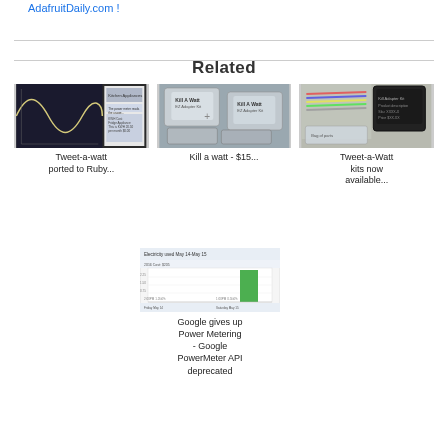AdafruitDaily.com !
Related
[Figure (photo): Tweet-a-watt ported to Ruby thumbnail image showing a graph with a sine wave]
Tweet-a-watt ported to Ruby...
[Figure (photo): Kill a watt product - packaged kits in plastic bags]
Kill a watt - $15...
[Figure (photo): Tweet-a-Watt kits now available - product bags and hardware]
Tweet-a-Watt kits now available...
[Figure (screenshot): Google PowerMeter electricity usage chart showing a bar graph from May 14 to May 15]
Google gives up Power Metering - Google PowerMeter API deprecated